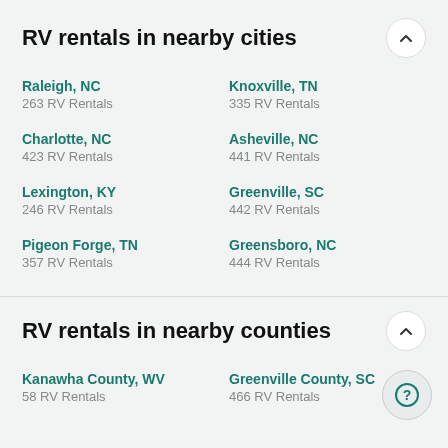RV rentals in nearby cities
Raleigh, NC
263 RV Rentals
Knoxville, TN
335 RV Rentals
Charlotte, NC
423 RV Rentals
Asheville, NC
441 RV Rentals
Lexington, KY
246 RV Rentals
Greenville, SC
442 RV Rentals
Pigeon Forge, TN
357 RV Rentals
Greensboro, NC
444 RV Rentals
RV rentals in nearby counties
Kanawha County, WV
58 RV Rentals
Greenville County, SC
466 RV Rentals